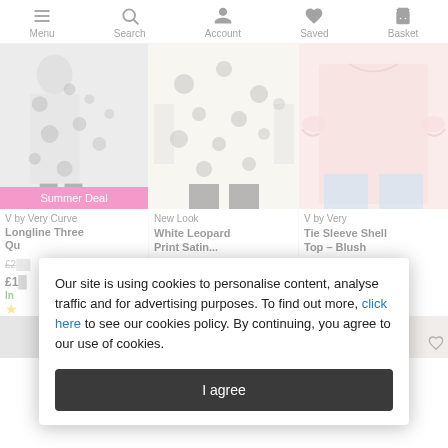Menu | Search | Account | Saved | Basket
[Figure (screenshot): Product listing card: V by Very Curve Longline Three Quarter with Summer Deal badge, showing black and white leopard print dress/top]
V by Very Curve
Longline Three Qu...
£2... £1...
In stock
[Figure (screenshot): Product listing card: New Look White Leopard Print Satin...]
New Look
White Leopard Print Satin...
[Figure (screenshot): Product listing card: V by Very Tie Sleeve Shell Top - Blush]
V by Very
Tie Sleeve Shell Top - Blush
Our site is using cookies to personalise content, analyse traffic and for advertising purposes. To find out more, click here to see our cookies policy. By continuing, you agree to our use of cookies.
I agree